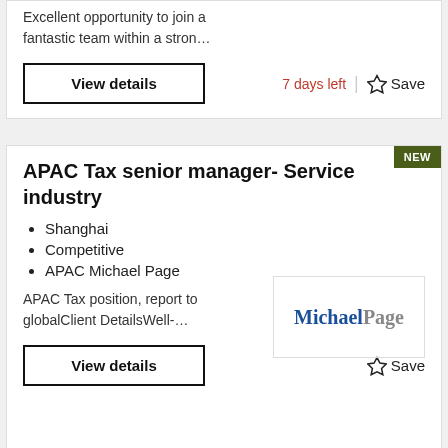Excellent opportunity to join a fantastic team within a stron…
View details
7 days left
Save
APAC Tax senior manager- Service industry
Shanghai
Competitive
APAC Michael Page
[Figure (logo): Michael Page logo — 'Michael' in dark blue bold serif, 'Page' in gray serif]
APAC Tax position, report to globalClient DetailsWell-…
View details
Save